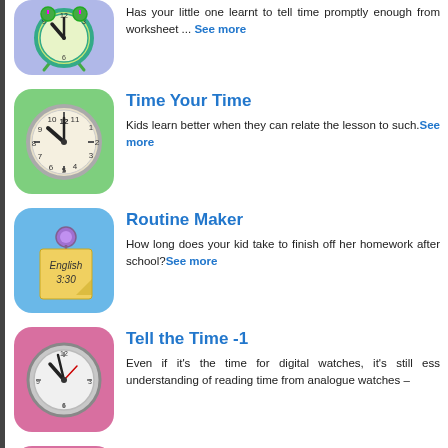[Figure (illustration): Alarm clock icon on purple/blue background]
Has your little one learnt to tell time promptly enough from worksheet ... See more
[Figure (illustration): Analog clock icon on green background]
Time Your Time
Kids learn better when they can relate the lesson to such. See more
[Figure (illustration): Sticky note with English 3:30 written on it, on blue background]
Routine Maker
How long does your kid take to finish off her homework after school? See more
[Figure (illustration): Analog clock icon on pink background]
Tell the Time -1
Even if it's the time for digital watches, it's still essential understanding of reading time from analogue watches –
[Figure (illustration): Analog clock icon on pink background]
Read and Write the Time